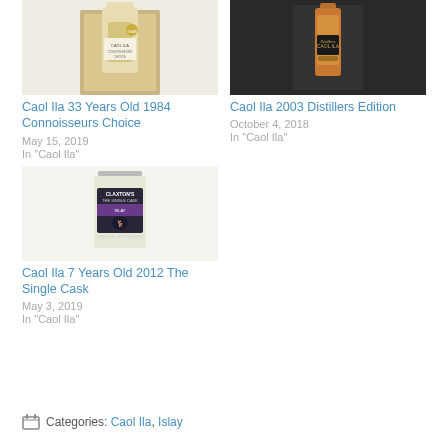[Figure (photo): Bottle of Caol Ila 33 Years Old 1984 Connoisseurs Choice]
Caol Ila 33 Years Old 1984 Connoisseurs Choice
May 15, 2019
In "Caol Ila"
[Figure (photo): Bottle of Caol Ila 2003 Distillers Edition]
Caol Ila 2003 Distillers Edition
October 4, 2018
In "Caol Ila"
[Figure (photo): Bottle of Caol Ila 7 Years Old 2012 The Single Cask by Claxton's]
Caol Ila 7 Years Old 2012 The Single Cask
May 3, 2019
In "Caol Ila"
Categories: Caol Ila, Islay